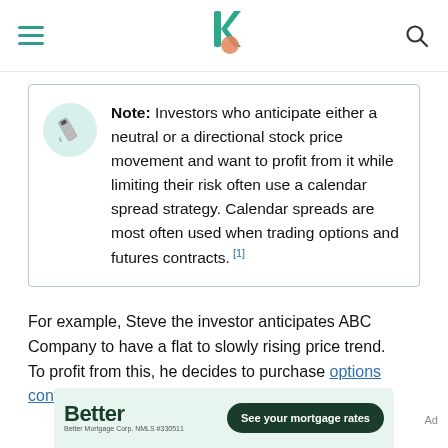Navigation bar with hamburger menu, Investopedia-style logo, and search icon
Note: Investors who anticipate either a neutral or a directional stock price movement and want to profit from it while limiting their risk often use a calendar spread strategy. Calendar spreads are most often used when trading options and futures contracts. [1]
For example, Steve the investor anticipates ABC Company to have a flat to slowly rising price trend. To profit from this, he decides to purchase options contracts following a calendar spread strategy.
[Figure (other): Better Mortgage advertisement banner with green background, Better brand name, and 'See your mortgage rates' button]